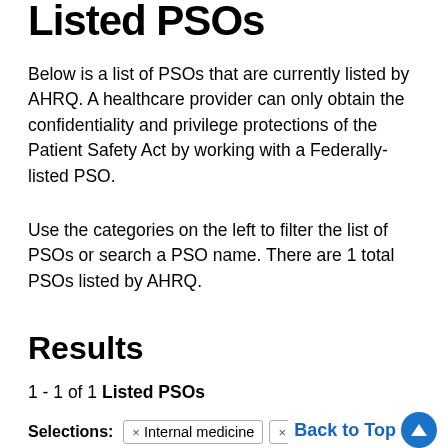Listed PSOs
Below is a list of PSOs that are currently listed by AHRQ. A healthcare provider can only obtain the confidentiality and privilege protections of the Patient Safety Act by working with a Federally-listed PSO.
Use the categories on the left to filter the list of PSOs or search a PSO name. There are 1 total PSOs listed by AHRQ.
Results
1 - 1 of 1 Listed PSOs
Selections: × Internal medicine  × Long te  × 100 - 199  × Comparative reports  × Consulting  × Newsletters